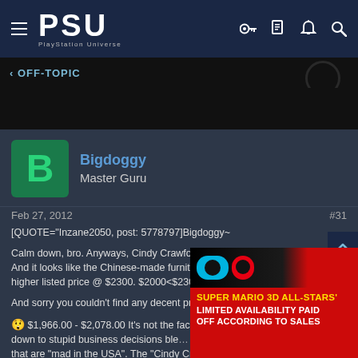PSU PlayStation Universe
< OFF-TOPIC
Bigdoggy
Master Guru
Feb 27, 2012   #31
[QUOTE="Inzane2050, post: 5778797]Bigdoggy~

Calm down, bro. Anyways, Cindy Crawford furniture is all American-made. And it looks like the Chinese-made furniture you posted is actually of a higher listed price @ $2300. $2000<$2300. I guess that settles that.

And sorry you couldn't find any decent prices this time.[/QUOTE]

😲 $1,966.00 - $2,078.00 It's not the fact…down to stupid business decisions ble…that are "mad in the USA". The "Cindy Cra…
[Figure (screenshot): Super Mario 3D All-Stars advertisement overlay: 'SUPER MARIO 3D ALL-STARS' LIMITED AVAILABILITY PAID OFF ACCORDING TO SALES']